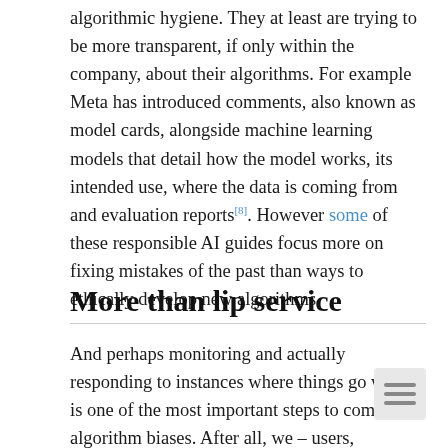algorithmic hygiene. They at least are trying to be more transparent, if only within the company, about their algorithms. For example Meta has introduced comments, also known as model cards, alongside machine learning models that detail how the model works, its intended use, where the data is coming from and evaluation reports[8]. However some of these responsible AI guides focus more on fixing mistakes of the past than ways to ethically develop new algorithms.
More than lip service
And perhaps monitoring and actually responding to instances where things go wrong is one of the most important steps to combat algorithm biases. After all, we – users, companies, developers – don't know what we don't know. There are still plenty of examples of issues with algorithms only being